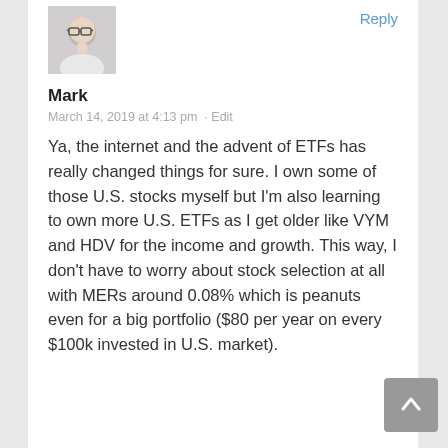[Figure (photo): Avatar photo of a man wearing glasses and a white shirt]
Reply
Mark
March 14, 2019 at 4:13 pm · Edit
Ya, the internet and the advent of ETFs has really changed things for sure. I own some of those U.S. stocks myself but I'm also learning to own more U.S. ETFs as I get older like VYM and HDV for the income and growth. This way, I don't have to worry about stock selection at all with MERs around 0.08% which is peanuts even for a big portfolio ($80 per year on every $100k invested in U.S. market).